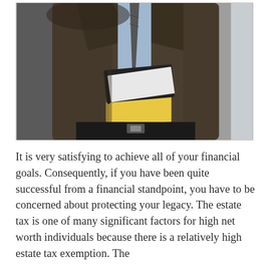[Figure (photo): A person in a dark brown suit jacket and blue tie, holding books/binders under their arm, photographed from the torso down against a light grey background.]
It is very satisfying to achieve all of your financial goals. Consequently, if you have been quite successful from a financial standpoint, you have to be concerned about protecting your legacy. The estate tax is one of many significant factors for high net worth individuals because there is a relatively high estate tax exemption. The